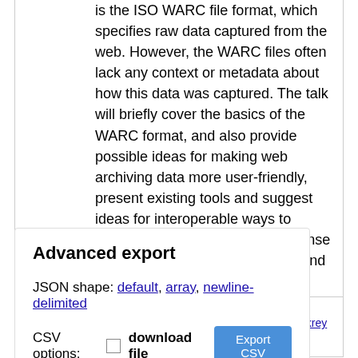is the ISO WARC file format, which specifies raw data captured from the web. However, the WARC files often lack any context or metadata about how this data was captured. The talk will briefly cover the basics of the WARC format, and also provide possible ideas for making web archiving data more user-friendly, present existing tools and suggest ideas for interoperable ways to describe collections and make sense of growing web archive data beyond the WARC format.
image
https://csvconf.com/img/speakers-2019/ikreymer.jpg
Advanced export
JSON shape: default, array, newline-delimited
CSV options: download file  Export CSV